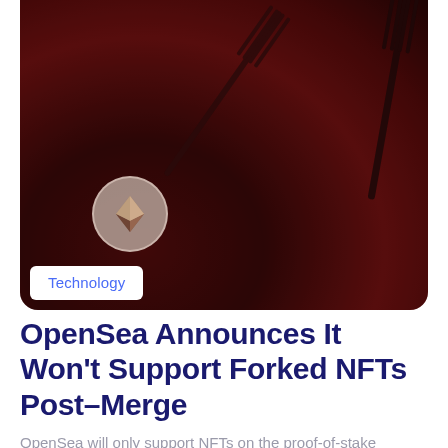[Figure (photo): Dark red/maroon textured background with multiple forks radiating outward from a central point, and a small circular Ethereum logo in the lower-left area of the image. A white 'Technology' label tag overlaps the bottom-left of the image.]
OpenSea Announces It Won't Support Forked NFTs Post–Merge
OpenSea will only support NFTs on the proof-of-stake chain…